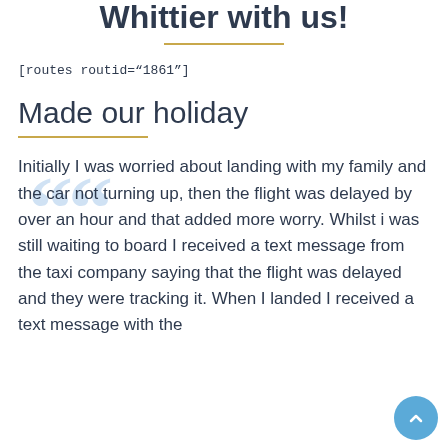Whittier with us!
[routes routid="1861"]
Made our holiday
Initially I was worried about landing with my family and the car not turning up, then the flight was delayed by over an hour and that added more worry. Whilst i was still waiting to board I received a text message from the taxi company saying that the flight was delayed and they were tracking it. When I landed I received a text message with the